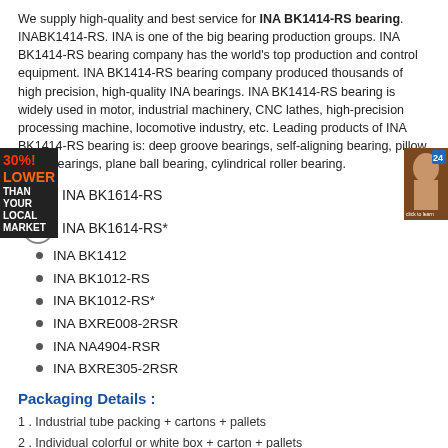We supply high-quality and best service for INA BK1414-RS bearing. INABK1414-RS. INA is one of the big bearing production groups. INA BK1414-RS bearing company has the world's top production and control equipment. INA BK1414-RS bearing company produced thousands of high precision, high-quality INA bearings. INA BK1414-RS bearing is widely used in motor, industrial machinery, CNC lathes, high-precision processing machine, locomotive industry, etc. Leading products of INA BK1414-RS bearing is: deep groove bearings, self-aligning bearing, pillow block bearings, plane ball bearing, cylindrical roller bearing.
INA BK1614-RS
INA BK1614-RS*
INA BK1412
INA BK1012-RS
INA BK1012-RS*
INA BXRE008-2RSR
INA NA4904-RSR
INA BXRE305-2RSR
Packaging Details :
1 . Industrial tube packing + cartons + pallets
2 . Individual colorful or white box + carton + pallets
3 . As the clients ' requirement